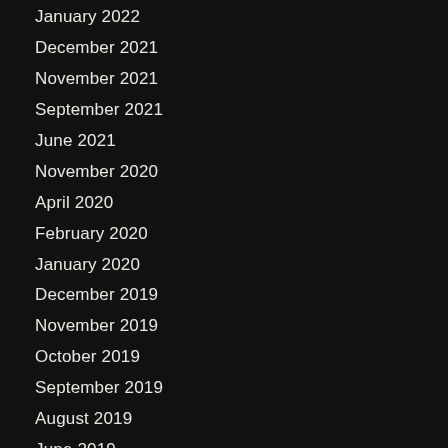January 2022
December 2021
November 2021
September 2021
June 2021
November 2020
April 2020
February 2020
January 2020
December 2019
November 2019
October 2019
September 2019
August 2019
June 2019
May 2019
April 2019